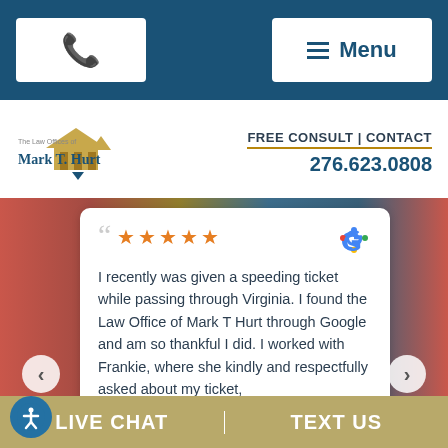Phone button | Menu
[Figure (logo): The Law Offices of Mark T. Hurt logo with courthouse/building icon]
FREE CONSULT | CONTACT
276.623.0808
[Figure (screenshot): Google review card with 5 stars: I recently was given a speeding ticket while passing through Virginia. I found the Law Office of Mark T Hurt through Google and am so thankful I did. I worked with Frankie, where she kindly and respectfully asked about my ticket,]
kelsey remondino
12 days ago
LIVE CHAT | TEXT US